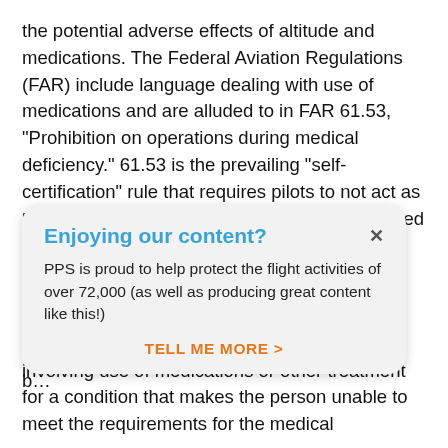the potential adverse effects of altitude and medications. The Federal Aviation Regulations (FAR) include language dealing with use of medications and are alluded to in FAR 61.53, "Prohibition on operations during medical deficiency." 61.53 is the prevailing "self-certification" rule that requires pilots to not act as pilot in command or in any capacity as a required flight crewmember if the pilot "knows or has reason to know of any
[Figure (other): Popup dialog: 'Enjoying our content?' with close button (×). Body text: 'PPS is proud to help protect the flight activities of over 72,000 (as well as producing great content like this!)' with call-to-action link 'TELL ME MORE >']
There's a second part to that regulation too, involving use of medications or other treatment for a condition that makes the person unable to meet the requirements for the medical